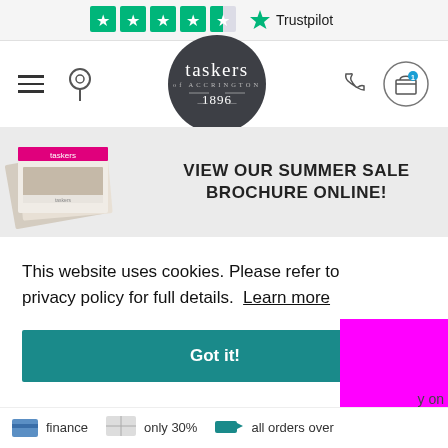[Figure (logo): Trustpilot rating bar with 4.5 green stars and Trustpilot logo]
[Figure (logo): Taskers of Accrington logo, dark circular badge, est. 1896]
[Figure (infographic): Summer sale brochure banner with brochure image and text VIEW OUR SUMMER SALE BROCHURE ONLINE!]
This website uses cookies. Please refer to our privacy policy for full details. Learn more
Got it!
finance   only 30%   all orders over